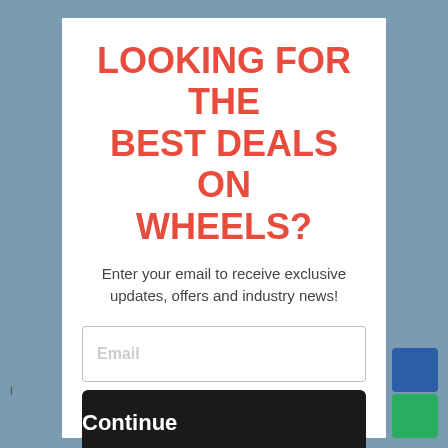LOOKING FOR THE BEST DEALS ON WHEELS?
Enter your email to receive exclusive updates, offers and industry news!
Email
Continue
No thanks, I don't like deals.